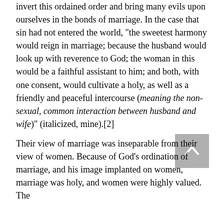invert this ordained order and bring many evils upon ourselves in the bonds of marriage. In the case that sin had not entered the world, "the sweetest harmony would reign in marriage; because the husband would look up with reverence to God; the woman in this would be a faithful assistant to him; and both, with one consent, would cultivate a holy, as well as a friendly and peaceful intercourse (meaning the non-sexual, common interaction between husband and wife)" (italicized, mine).[2]
Their view of marriage was inseparable from their view of women. Because of God's ordination of marriage, and his image implanted on women, marriage was holy, and women were highly valued. The